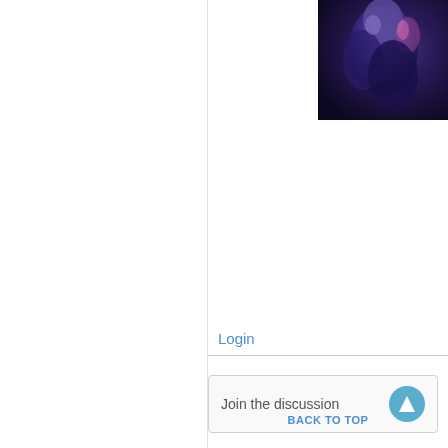[Figure (photo): Dark-toned illustration or screenshot with purple/blue hues, partially visible at top-right of the page]
Login
Join the discussion
BACK TO TOP